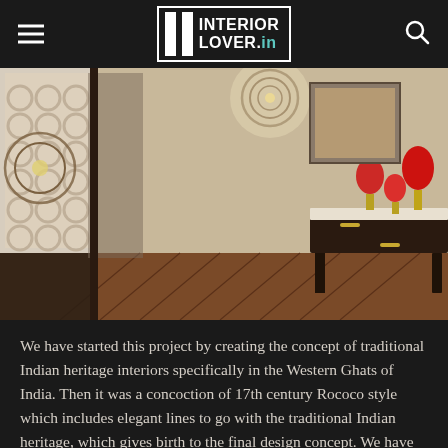INTERIOR LOVER.in
[Figure (photo): Interior room photo showing an elegant space with ornate spherical chandelier, decorative white lattice partition panel, dark wood console table with marble top, red glass candle holders on brass stands, herringbone wood floor, and framed artwork on wall.]
We have started this project by creating the concept of traditional Indian heritage interiors specifically in the Western Ghats of India. Then it was a concoction of 17th century Rococo style which includes elegant lines to go with the traditional Indian heritage, which gives birth to the final design concept. We have played with all the 7 elements of designs such as Space, Line, Form, Light, Colour, Texture,